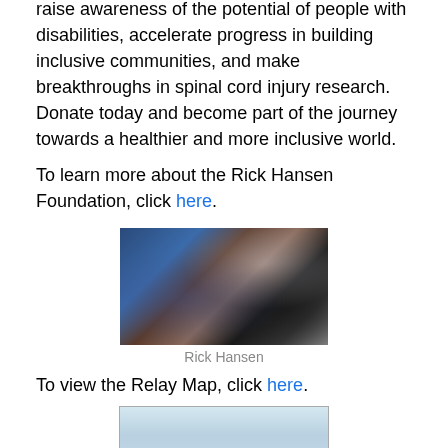raise awareness of the potential of people with disabilities, accelerate progress in building inclusive communities, and make breakthroughs in spinal cord injury research. Donate today and become part of the journey towards a healthier and more inclusive world.
To learn more about the Rick Hansen Foundation, click here.
[Figure (photo): Rick Hansen in a wheelchair reaching out to shake hands with a crowd of people, surrounded by cameras and onlookers.]
Rick Hansen
To view the Relay Map, click here.
[Figure (map): Partial map showing what appears to be a geographic relay route map.]